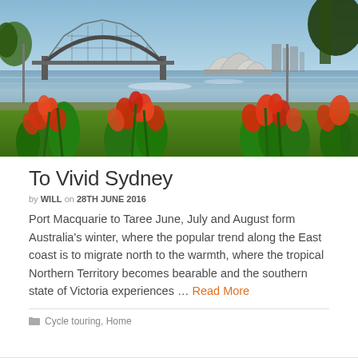[Figure (photo): Photo of Sydney Harbour with the Sydney Opera House and Harbour Bridge in the background, and red/orange tropical flowers in the foreground, with water and green grass in between.]
To Vivid Sydney
by WILL on 28TH JUNE 2016
Port Macquarie to Taree June, July and August form Australia's winter, where the popular trend along the East coast is to migrate north to the warmth, where the tropical Northern Territory becomes bearable and the southern state of Victoria experiences … Read More
Cycle touring, Home